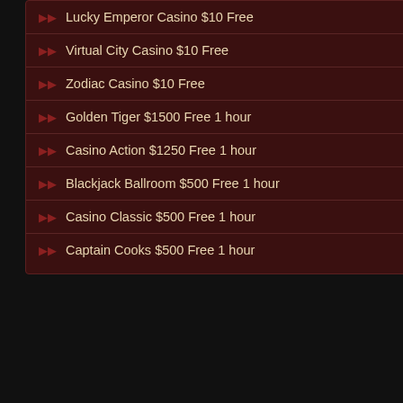Lucky Emperor Casino $10 Free
Virtual City Casino $10 Free
Zodiac Casino $10 Free
Golden Tiger $1500 Free 1 hour
Casino Action $1250 Free 1 hour
Blackjack Ballroom $500 Free 1 hour
Casino Classic $500 Free 1 hour
Captain Cooks $500 Free 1 hour
Club Player is powered by RTC
Read More  Visit Now
Prism Regal Casino
Want to try Prism Regal Casino R... excitement! Plus Enjoy a 250% deposit sign n...
Use bonus code: PRISM30
Read More  Visit Now
[Figure (illustration): Rich Palms Casino promotional banner with $35 Free Chip offer and bunny mascot on green jungle background]
Palace of Chance
We wouldn't be the best online ca... promotions! Palace of Chance ru... To see how you can maximize yo...
Awarded Best USA Online Cas...
Read More  Visit Now